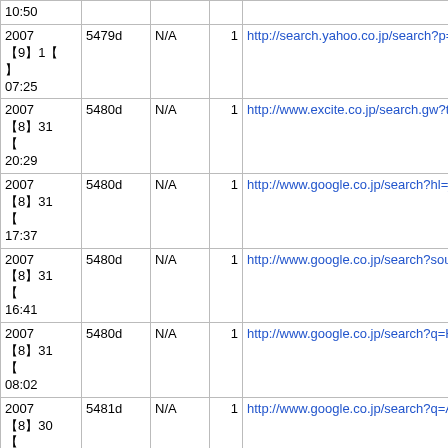| Date | ID | N/A | Num | URL |
| --- | --- | --- | --- | --- |
| 10:50 |  |  |  |  |
| 20078တ31
က
07:25 | 5479d | N/A | 1 | http://search.yahoo.co.jp/search?p=HDD |
| 2007
8တ31
က
20:29 | 5480d | N/A | 1 | http://www.excite.co.jp/search.gw?target |
| 2007
8တ31
က
17:37 | 5480d | N/A | 1 | http://www.google.co.jp/search?hl=ja&rls |
| 2007
8တ31
က
16:41 | 5480d | N/A | 1 | http://www.google.co.jp/search?sourceid |
| 2007
8တ31
က
08:02 | 5480d | N/A | 1 | http://www.google.co.jp/search?q=HD+L |
| 2007
8တ30
က
09:23 | 5481d | N/A | 1 | http://www.google.co.jp/search?q=ATA+ |
| 2007
8တ29
က
16:02 | 5482d | N/A | 1 | http://cgi.search.biglobe.ne.jp/cgi-bin/sea |